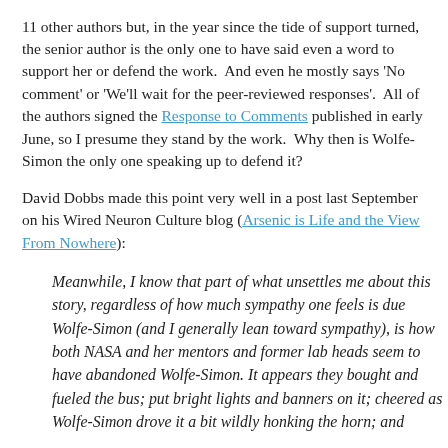11 other authors but, in the year since the tide of support turned, the senior author is the only one to have said even a word to support her or defend the work.  And even he mostly says 'No comment' or 'We'll wait for the peer-reviewed responses'.  All of the authors signed the Response to Comments published in early June, so I presume they stand by the work.  Why then is Wolfe-Simon the only one speaking up to defend it?
David Dobbs made this point very well in a post last September on his Wired Neuron Culture blog (Arsenic is Life and the View From Nowhere):
Meanwhile, I know that part of what unsettles me about this story, regardless of how much sympathy one feels is due Wolfe-Simon (and I generally lean toward sympathy), is how both NASA and her mentors and former lab heads seem to have abandoned Wolfe-Simon. It appears they bought and fueled the bus; put bright lights and banners on it; cheered as Wolfe-Simon drove it a bit wildly honking the horn; and